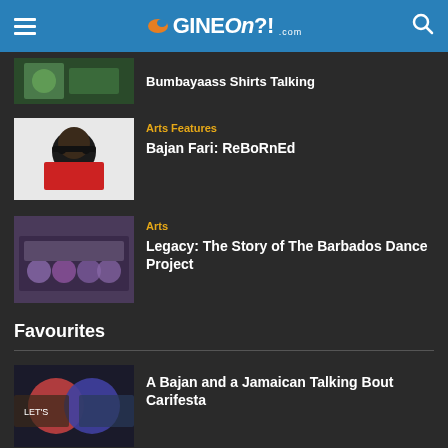GineOn?!.com
Bumbayaass Shirts Talking
Arts Features
Bajan Fari: ReBoRnEd
Arts
Legacy: The Story of The Barbados Dance Project
Favourites
A Bajan and a Jamaican Talking Bout Carifesta
So...How It Was: Mahalia's Corner – Lil Rick
Gine On?! Hangs Out with Nandi from Riddim Tribe